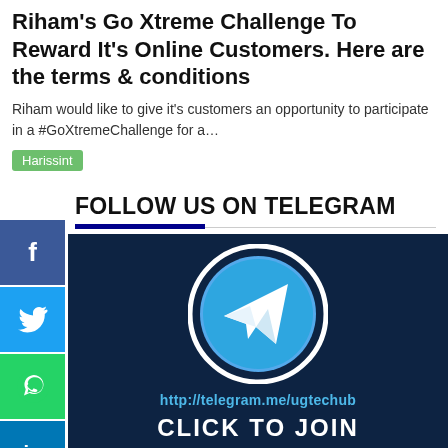Riham's Go Xtreme Challenge To Reward It's Online Customers. Here are the terms & conditions
Riham would like to give it's customers an opportunity to participate in a #GoXtremeChallenge for a…
Harissint
FOLLOW US ON TELEGRAM
[Figure (screenshot): Telegram promotional banner with Telegram logo and URL http://telegram.me/ugtechub and text CLICK TO JOIN on dark navy background]